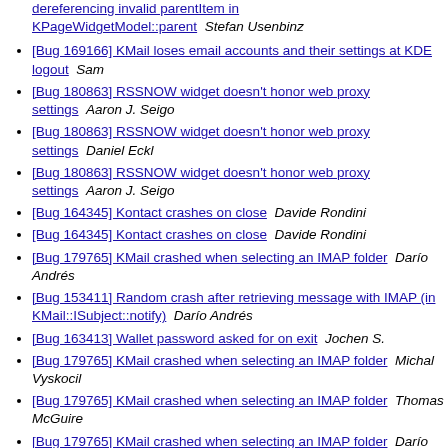dereferencing invalid parentItem in KPageWidgetModel::parent  Stefan Usenbinz
[Bug 169166] KMail loses email accounts and their settings at KDE logout  Sam
[Bug 180863] RSSNOW widget doesn't honor web proxy settings  Aaron J. Seigo
[Bug 180863] RSSNOW widget doesn't honor web proxy settings  Daniel Eckl
[Bug 180863] RSSNOW widget doesn't honor web proxy settings  Aaron J. Seigo
[Bug 164345] Kontact crashes on close  Davide Rondini
[Bug 164345] Kontact crashes on close  Davide Rondini
[Bug 179765] KMail crashed when selecting an IMAP folder  Darío Andrés
[Bug 153411] Random crash after retrieving message with IMAP (in KMail::ISubject::notify)  Darío Andrés
[Bug 163413] Wallet password asked for on exit  Jochen S.
[Bug 179765] KMail crashed when selecting an IMAP folder  Michal Vyskocil
[Bug 179765] KMail crashed when selecting an IMAP folder  Thomas McGuire
[Bug 179765] KMail crashed when selecting an IMAP folder  Darío Andrés
[Bug 167960] No password asked when gpg-agent not running  Thomas McGuire